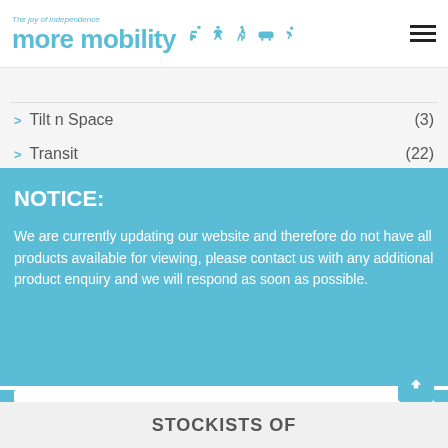The joy of independence more mobility
Tilt n Space (3)
Transit (22)
NOTICE:
We are currently updating our website and therefore do not have all products available for viewing, please contact us with any additional product enquiry and we will respond as soon as possible.
Contact Us
STOCKISTS OF